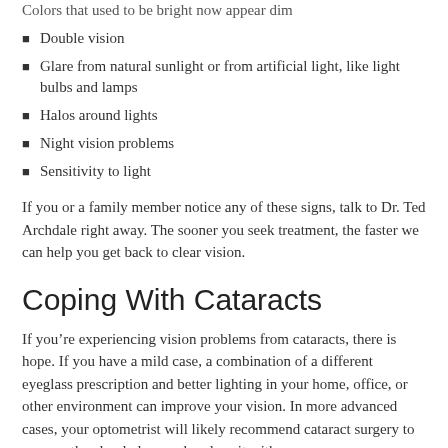Colors that used to be bright now appear dim
Double vision
Glare from natural sunlight or from artificial light, like light bulbs and lamps
Halos around lights
Night vision problems
Sensitivity to light
If you or a family member notice any of these signs, talk to Dr. Ted Archdale right away. The sooner you seek treatment, the faster we can help you get back to clear vision.
Coping With Cataracts
If you’re experiencing vision problems from cataracts, there is hope. If you have a mild case, a combination of a different eyeglass prescription and better lighting in your home, office, or other environment can improve your vision. In more advanced cases, your optometrist will likely recommend cataract surgery to remove the cloudy lens and replace it with